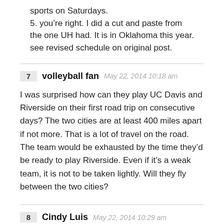sports on Saturdays.
5. you’re right. I did a cut and paste from the one UH had. It is in Oklahoma this year.
see revised schedule on original post.
7 volleyball fan May 22, 2014 10:18 am
I was surprised how can they play UC Davis and Riverside on their first road trip on consecutive days? The two cities are at least 400 miles apart if not more. That is a lot of travel on the road. The team would be exhausted by the time they’d be ready to play Riverside. Even if it’s a weak team, it is not to be taken lightly. Will they fly between the two cities?
8 Cindy Luis May 22, 2014 10:29 am